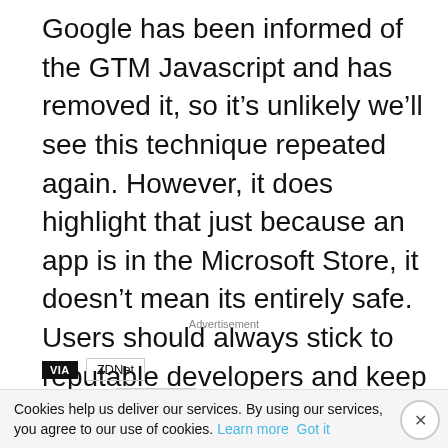Google has been informed of the GTM Javascript and has removed it, so it’s unlikely we’ll see this technique repeated again. However, it does highlight that just because an app is in the Microsoft Store, it doesn’t mean its entirely safe. Users should always stick to reputable developers and keep and keep an eye on their system resource usage.
Advertisement
VIA  ZDNet
SOURCE  Symantec
TAGS  Cryptocurrency  cryptominers  Microsoft Store
Monero
Cookies help us deliver our services. By using our services, you agree to our use of cookies. Learn more  Got it